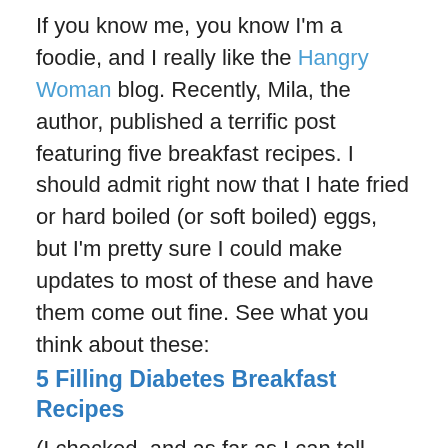If you know me, you know I'm a foodie, and I really like the Hangry Woman blog. Recently, Mila, the author, published a terrific post featuring five breakfast recipes. I should admit right now that I hate fried or hard boiled (or soft boiled) eggs, but I'm pretty sure I could make updates to most of these and have them come out fine. See what you think about these:
5 Filling Diabetes Breakfast Recipes
(I checked, and as far as I can tell, none of the recipes actually has diabetes)
Finally, from Renza at Diabetogenic, a few words about community, what it means, and how we all fit into our community, however we define that word. If you read none of the other posts above, read this one. It will make your